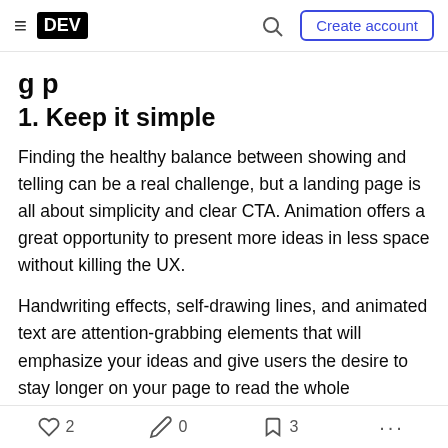≡ DEV [search] Create account
[partial title text cut off]
1. Keep it simple
Finding the healthy balance between showing and telling can be a real challenge, but a landing page is all about simplicity and clear CTA. Animation offers a great opportunity to present more ideas in less space without killing the UX.
Handwriting effects, self-drawing lines, and animated text are attention-grabbing elements that will emphasize your ideas and give users the desire to stay longer on your page to read the whole sentence, or perhaps to scroll down and continue
♡ 2   🔥 0   🔖 3   ...